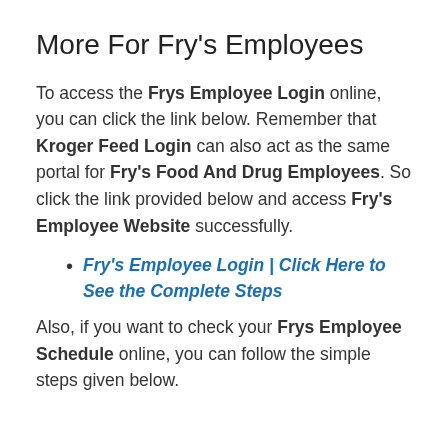More For Fry’s Employees
To access the Frys Employee Login online, you can click the link below. Remember that Kroger Feed Login can also act as the same portal for Fry’s Food And Drug Employees. So click the link provided below and access Fry’s Employee Website successfully.
Fry’s Employee Login | Click Here to See the Complete Steps
Also, if you want to check your Frys Employee Schedule online, you can follow the simple steps given below.